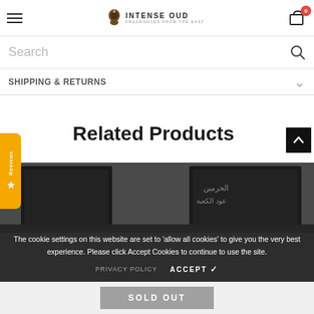INTENSE OUD - FRAGRANCES FROM THE EAST
Search
SHIPPING & RETURNS
Related Products
Reviews
The cookie settings on this website are set to 'allow all cookies' to give you the very best experience. Please click Accept Cookies to continue to use the site.
PRIVACY POLICY     ACCEPT ✓
SOLD OUT